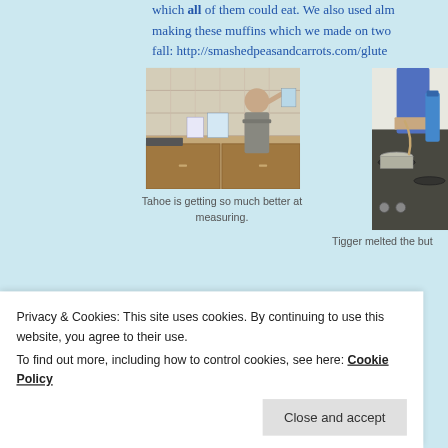which all of them could eat. We also used alm making these muffins which we made on two fall: http://smashedpeasandcarrots.com/glute
[Figure (photo): A child in a kitchen measuring ingredients on a counter with various food items visible]
Tahoe is getting so much better at measuring.
[Figure (photo): A person melting butter on a gas stove in a kitchen]
Tigger melted the but
Privacy & Cookies: This site uses cookies. By continuing to use this website, you agree to their use.
To find out more, including how to control cookies, see here: Cookie Policy
Close and accept